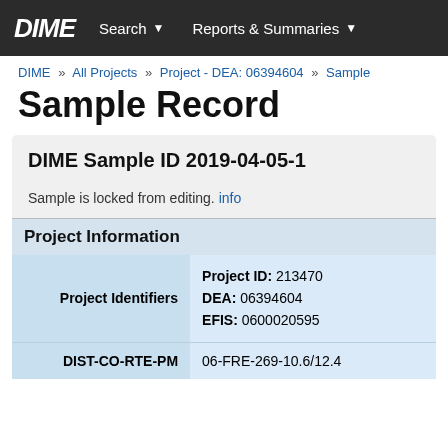DIME  Search ▾  Reports & Summaries ▾
DIME » All Projects » Project - DEA: 06394604 » Sample
Sample Record
DIME Sample ID 2019-04-05-1
Sample is locked from editing. info
Project Information
|  |  |
| --- | --- |
| Project Identifiers | Project ID: 213470
DEA: 06394604
EFIS: 0600020595 |
| DIST-CO-RTE-PM | 06-FRE-269-10.6/12.4 |